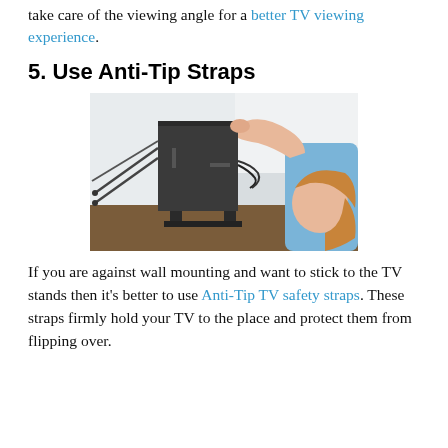take care of the viewing angle for a better TV viewing experience.
5. Use Anti-Tip Straps
[Figure (photo): A young girl reaching behind a flat-screen TV on a stand, with anti-tip straps attached to the back of the TV extending off to the left side.]
If you are against wall mounting and want to stick to the TV stands then it's better to use Anti-Tip TV safety straps. These straps firmly hold your TV to the place and protect them from flipping over.